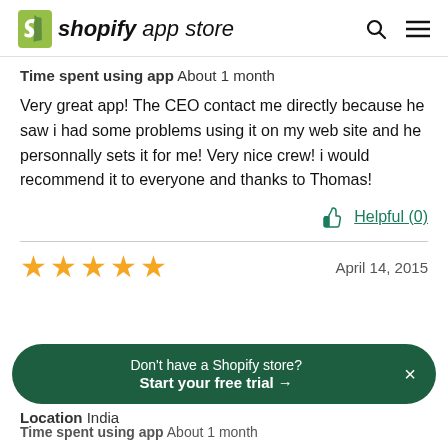shopify app store
Time spent using app  About 1 month
Very great app! The CEO contact me directly because he saw i had some problems using it on my web site and he personnally sets it for me! Very nice crew! i would recommend it to everyone and thanks to Thomas!
Helpful (0)
[Figure (other): 5-star rating (4 gold stars visible), dated April 14, 2015]
Location  India
Don't have a Shopify store? Start your free trial →